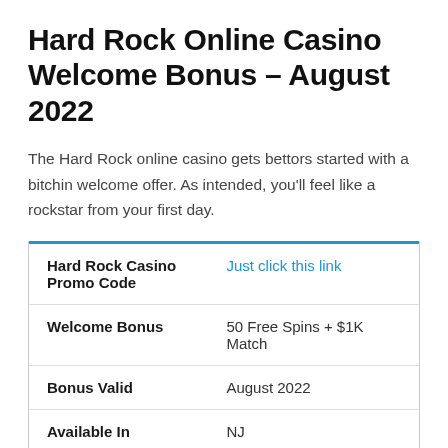Hard Rock Online Casino Welcome Bonus – August 2022
The Hard Rock online casino gets bettors started with a bitchin welcome offer. As intended, you'll feel like a rockstar from your first day.
| Hard Rock Casino Promo Code | Just click this link |
| Welcome Bonus | 50 Free Spins + $1K Match |
| Bonus Valid | August 2022 |
| Available In | NJ |